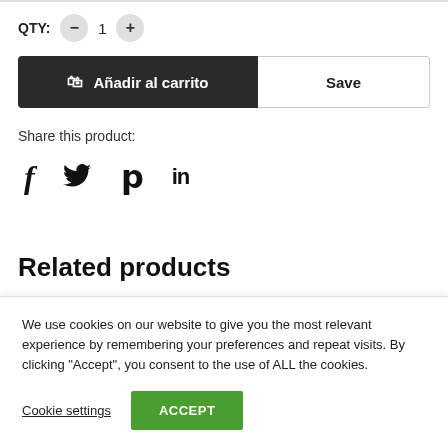QTY: − 1 +
Añadir al carrito
Save
Share this product:
[Figure (infographic): Social media share icons: Facebook (f), Twitter (bird), Pinterest (p), LinkedIn (in)]
Related products
We use cookies on our website to give you the most relevant experience by remembering your preferences and repeat visits. By clicking "Accept", you consent to the use of ALL the cookies.
Cookie settings   ACCEPT